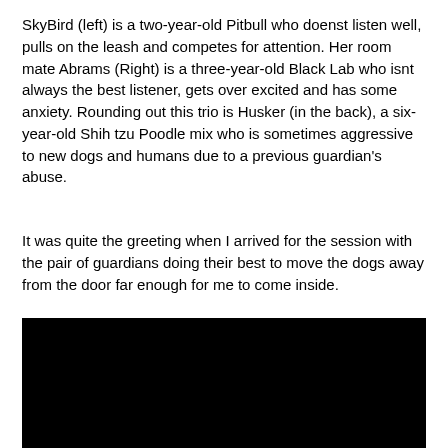SkyBird (left) is a two-year-old Pitbull who doenst listen well, pulls on the leash and competes for attention. Her room mate Abrams (Right) is a three-year-old Black Lab who isnt always the best listener, gets over excited and has some anxiety. Rounding out this trio is Husker (in the back), a six-year-old Shih tzu Poodle mix who is sometimes aggressive to new dogs and humans due to a previous guardian's abuse.
It was quite the greeting when I arrived for the session with the pair of guardians doing their best to move the dogs away from the door far enough for me to come inside.
[Figure (photo): A dark/black photograph, likely of dogs, that is mostly obscured or very dark.]